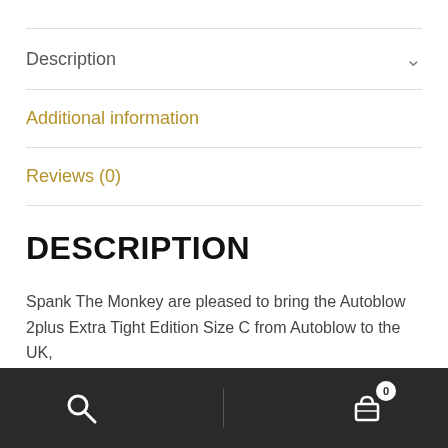Description
Additional information
Reviews (0)
DESCRIPTION
Spank The Monkey are pleased to bring the Autoblow 2plus Extra Tight Edition Size C from Autoblow to the UK,